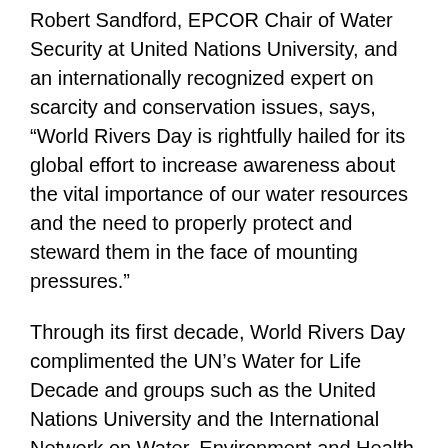Robert Sandford, EPCOR Chair of Water Security at United Nations University, and an internationally recognized expert on scarcity and conservation issues, says, “World Rivers Day is rightfully hailed for its global effort to increase awareness about the vital importance of our water resources and the need to properly protect and steward them in the face of mounting pressures.”
Through its first decade, World Rivers Day complimented the UN’s Water for Life Decade and groups such as the United Nations University and the International Network on Water, Environment and Health remain valued supporters. Angelo, a recipient of the Order of Canada, his country’s highest honor, as well as the inaugural recipient of a United Nations Stewardship Award for Science, Education and Conservation, initially founded BC Rivers Day in British Columbia back in 1980 in